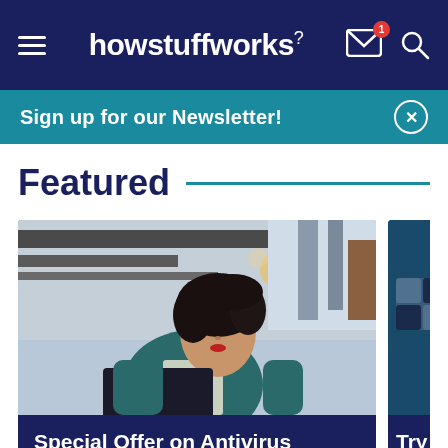howstuffworks
Sign up for our Newsletter!
Featured
[Figure (photo): Woman in teal blazer sitting outdoors with a laptop, looking upward]
Special Offer on Antivirus Software From HowStuffWorks
[Figure (screenshot): Partial card showing checkerboard dark pattern, captioned 'Try Our Q...']
Try Our Q